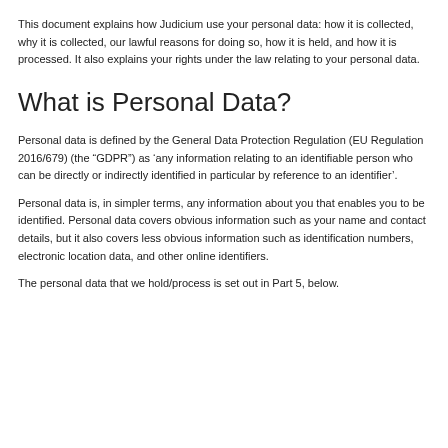This document explains how Judicium use your personal data: how it is collected, why it is collected, our lawful reasons for doing so, how it is held, and how it is processed. It also explains your rights under the law relating to your personal data.
What is Personal Data?
Personal data is defined by the General Data Protection Regulation (EU Regulation 2016/679) (the “GDPR”) as ‘any information relating to an identifiable person who can be directly or indirectly identified in particular by reference to an identifier’.
Personal data is, in simpler terms, any information about you that enables you to be identified. Personal data covers obvious information such as your name and contact details, but it also covers less obvious information such as identification numbers, electronic location data, and other online identifiers.
The personal data that we hold/process is set out in Part 5, below.